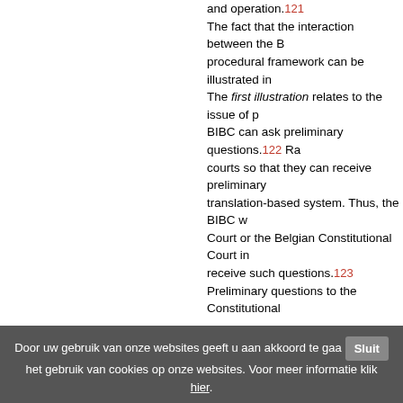and operation.121 The fact that the interaction between the B... procedural framework can be illustrated in ... The first illustration relates to the issue of p... BIBC can ask preliminary questions.122 Ra... courts so that they can receive preliminary ... translation-based system. Thus, the BIBC w... Court or the Belgian Constitutional Court in... receive such questions.123 Preliminary questions to the Constitutional ... chosen by the panel chairman.124 · 125 Fo... same language arrangements will apply as... The BIBC may also refer a preliminary ques... Luxembourg. As a business court, the BIBC... do this in English.128 Doubts concerning th... here. While the composition ends after it ha... constitutes a permanent legal structure.129 The second illustration lies in the possibility... will be able to do this in Dutch, French, Ger... French, the entire proceedings will take pla... English, the Chairman will decide in which l...
Door uw gebruik van onze websites geeft u aan akkoord te gaa... het gebruik van cookies op onze websites. Voor meer informatie klik hier.